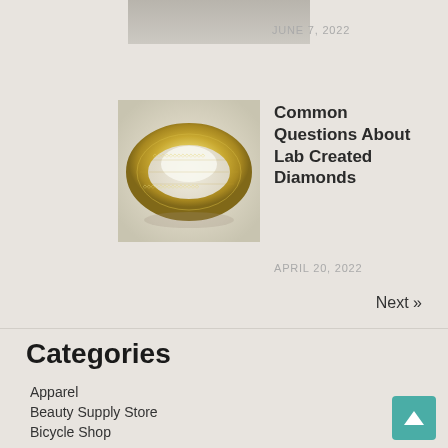[Figure (photo): Partial view of a photo at top of page, cropped]
JUNE 7, 2022
[Figure (photo): Gold diamond eternity band ring on white background]
Common Questions About Lab Created Diamonds
APRIL 20, 2022
Next »
Categories
Apparel
Beauty Supply Store
Bicycle Shop